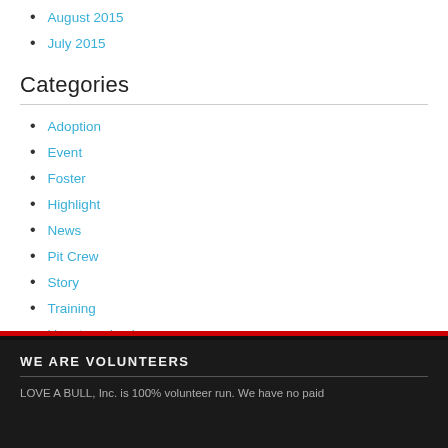August 2015
July 2015
Categories
Adoption
Event
Foster
Highlight
News
Pit Crew
Story
Training
Uncategorized
WE ARE VOLUNTEERS
LOVE A BULL, Inc. is 100% volunteer run. We have no paid